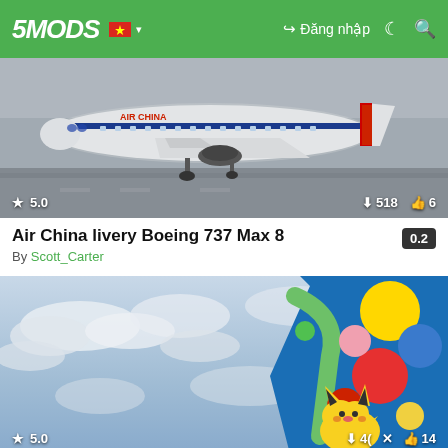5MODS — Đăng nhập
[Figure (screenshot): Air China Boeing 737 Max 8 aircraft on runway, thumbnail image with rating 5.0, 518 downloads, 6 likes]
Air China livery Boeing 737 Max 8
By Scott_Carter   0.2
[Figure (screenshot): All Nippon Airways Pocket Monsters Pikachu livery airplane tail with colorful Pokemon artwork against cloudy sky, rating 5.0, 40 downloads, X, 14 likes]
All Nippon Airways Pocket Monsters (Pokémon) Livery ...   0.1